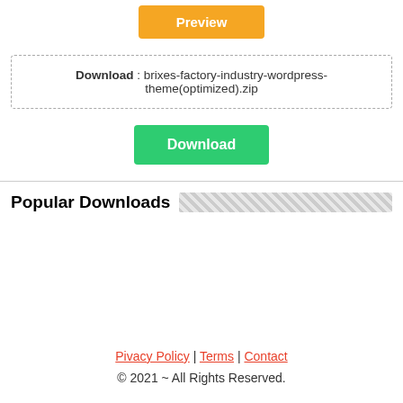[Figure (other): Yellow Preview button]
Download : brixes-factory-industry-wordpress-theme(optimized).zip
[Figure (other): Green Download button]
Popular Downloads
Pivacy Policy | Terms | Contact
© 2021 ~ All Rights Reserved.